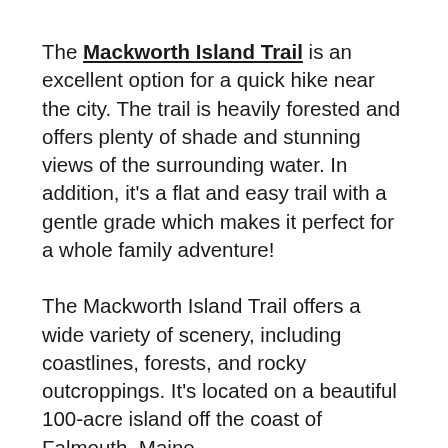The Mackworth Island Trail is an excellent option for a quick hike near the city. The trail is heavily forested and offers plenty of shade and stunning views of the surrounding water. In addition, it's a flat and easy trail with a gentle grade which makes it perfect for a whole family adventure!
The Mackworth Island Trail offers a wide variety of scenery, including coastlines, forests, and rocky outcroppings. It's located on a beautiful 100-acre island off the coast of Falmouth, Maine.
On your hike along the Mackworth Island Trail, you'll have many beautiful views of